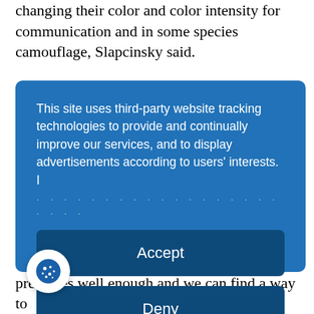changing their color and color intensity for communication and in some species camouflage, Slapcinsky said.
[Figure (screenshot): Cookie consent overlay dialog on a blue background with Accept and Deny buttons, 'more' link, and 'Powered by usercentrics & eRecht24' footer. The dialog reads: 'This site uses third-party website tracking technologies to provide and continually improve our services, and to display advertisements according to users' interests. I [more text cut off]']
said would be really cool to exhibit something like this, if it turns out that it preserves well enough and we can find a way to